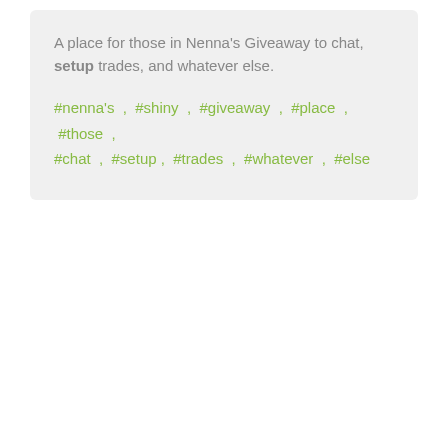A place for those in Nenna's Giveaway to chat, setup trades, and whatever else.
#nenna's , #shiny , #giveaway , #place , #those , #chat , #setup , #trades , #whatever , #else